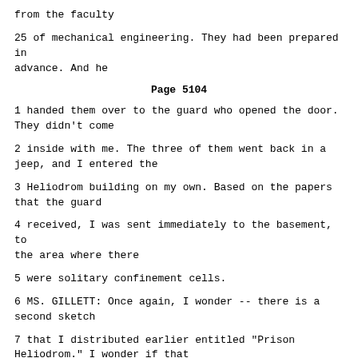from the faculty
25 of mechanical engineering. They had been prepared in advance. And he
Page 5104
1 handed them over to the guard who opened the door. They didn't come
2 inside with me. The three of them went back in a jeep, and I entered the
3 Heliodrom building on my own. Based on the papers that the guard
4 received, I was sent immediately to the basement, to the area where there
5 were solitary confinement cells.
6 MS. GILLETT: Once again, I wonder -- there is a second sketch
7 that I distributed earlier entitled "Prison Heliodrom." I wonder if that
8 could be placed on the ELMO.
9 Q. Mr. Saric, before we begin with any detail on this document, as